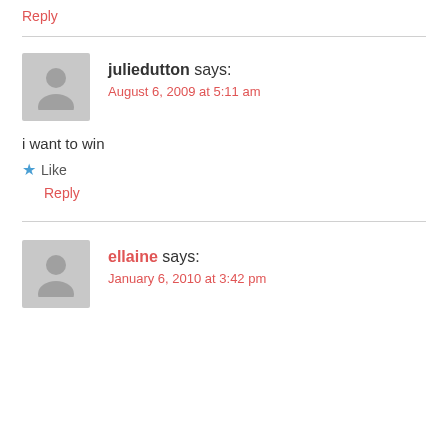Reply
juliedutton says:
August 6, 2009 at 5:11 am
i want to win
★ Like
Reply
ellaine says:
January 6, 2010 at 3:42 pm